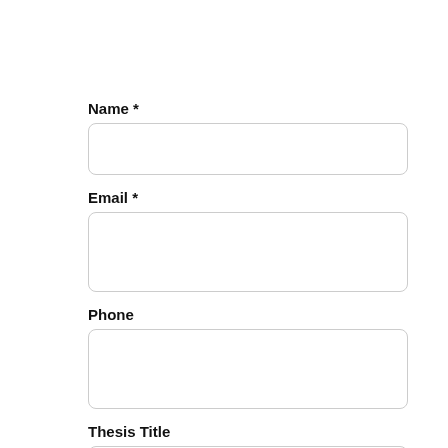Name *
Email *
Phone
Thesis Title
Message